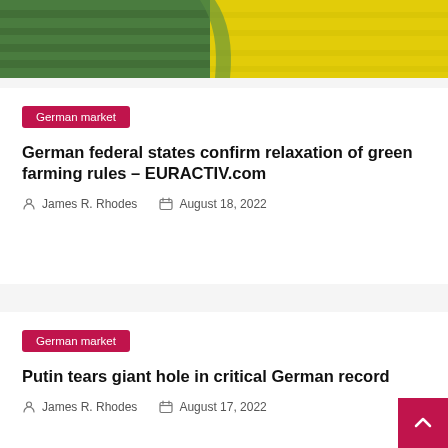[Figure (photo): Aerial or landscape photo showing green fields and yellow flowering rapeseed crops.]
German market
German federal states confirm relaxation of green farming rules – EURACTIV.com
James R. Rhodes   August 18, 2022
German market
Putin tears giant hole in critical German record
James R. Rhodes   August 17, 2022